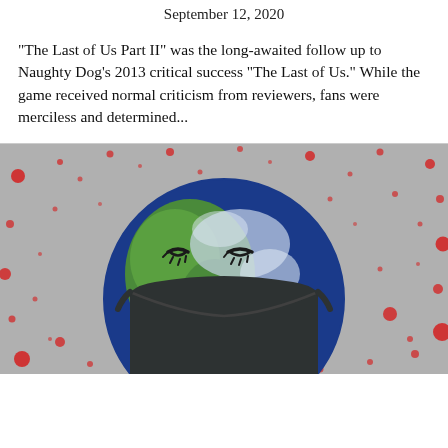September 12, 2020
"The Last of Us Part II" was the long-awaited follow up to Naughty Dog's 2013 critical success "The Last of Us." While the game received normal criticism from reviewers, fans were merciless and determined...
[Figure (illustration): Illustration of the Earth as a cartoon globe with closed eyes and a dark face mask, surrounded by scattered red dots/circles on a grey background, representing COVID-19 pandemic imagery.]